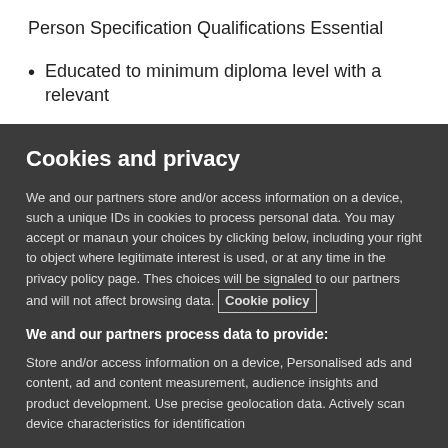Person Specification Qualifications Essential
Educated to minimum diploma level with a relevant
Cookies and privacy
We and our partners store and/or access information on a device, such a unique IDs in cookies to process personal data. You may accept or manage your choices by clicking below, including your right to object where legitimate interest is used, or at any time in the privacy policy page. These choices will be signaled to our partners and will not affect browsing data. Cookie policy
We and our partners process data to provide:
Store and/or access information on a device, Personalised ads and content, ad and content measurement, audience insights and product development. Use precise geolocation data. Actively scan device characteristics for identification
List of Partners (vendors)
I Accept